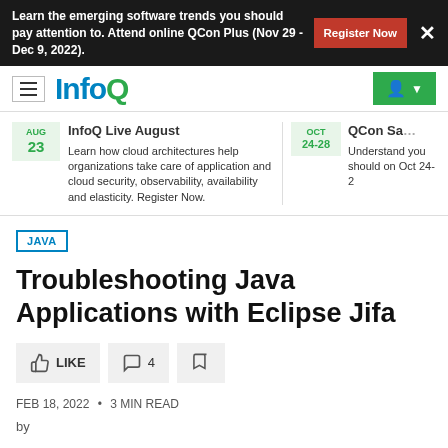Learn the emerging software trends you should pay attention to. Attend online QCon Plus (Nov 29 - Dec 9, 2022). Register Now
[Figure (screenshot): InfoQ logo with hamburger menu and user account button]
InfoQ Live August
Learn how cloud architectures help organizations take care of application and cloud security, observability, availability and elasticity. Register Now.
AUG 23
QCon Sa...
Understand you should on Oct 24-2...
OCT 24-28
JAVA
Troubleshooting Java Applications with Eclipse Jifa
LIKE  4  [bookmark]
FEB 18, 2022 • 3 MIN READ
by